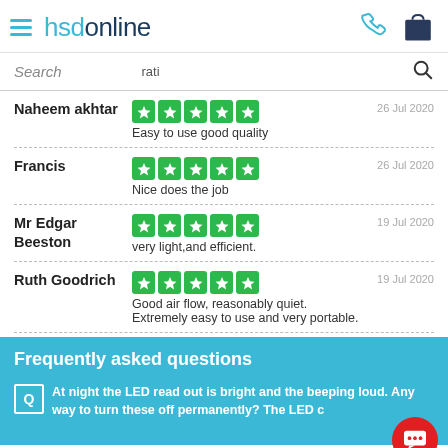hsdonline
Naheem akhtar — 5 stars — Easy to use good quality — 26 Jul 2020
Francis — 5 stars — Nice does the job — 26 Jul 2020
Mr Edgar Beeston — 5 stars — very light,and efficient. — 19 Jul 2020
Ruth Goodrich — 5 stars — Good air flow, reasonably quiet. Extremely easy to use and very portable. — 19 Jul 2020
Frequently asked questions
At night the LED read out is bright and the beeping loud. Any way to turn these off permanently? The LED came back on after the timers finished, it's like Blackpool...